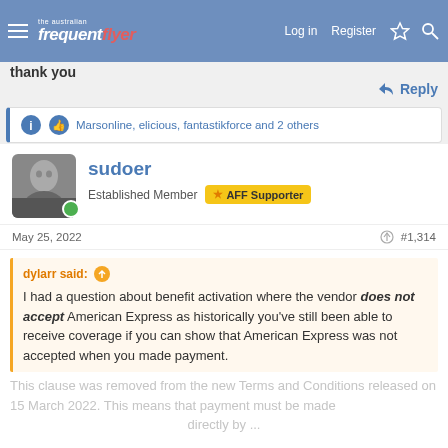The Australian Frequent Flyer — Log in  Register
thank you
Reply
Marsonline, elicious, fantastikforce and 2 others
sudoer
Established Member  AFF Supporter
May 25, 2022  #1,314
dylarr said:
I had a question about benefit activation where the vendor does not accept American Express as historically you've still been able to receive coverage if you can show that American Express was not accepted when you made payment.
This clause was removed from the new Terms and Conditions released on 15 March 2022. This means that payment must be made directly by ...